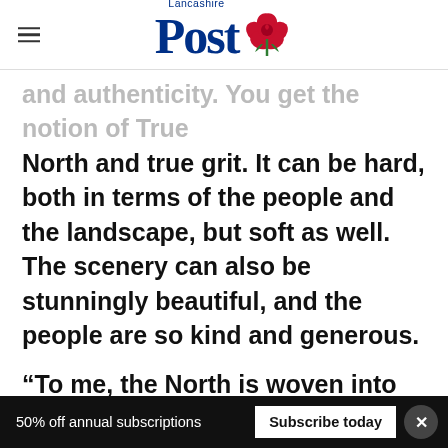Lancashire Post
and authenticity. You get the notion of True North and true grit. It can be hard, both in terms of the people and the landscape, but soft as well. The scenery can also be stunningly beautiful, and the people are so kind and generous.
“To me, the North is woven into what I am doing here.”
And for someone who likes to set her books in
50% off annual subscriptions  Subscribe today  ×